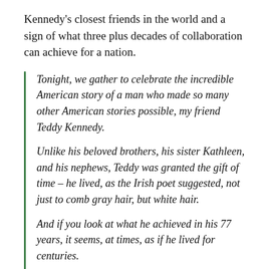Kennedy's closest friends in the world and a sign of what three plus decades of collaboration can achieve for a nation.
Tonight, we gather to celebrate the incredible American story of a man who made so many other American stories possible, my friend Teddy Kennedy.

Unlike his beloved brothers, his sister Kathleen, and his nephews, Teddy was granted the gift of time – he lived, as the Irish poet suggested, not just to comb gray hair, but white hair.

And if you look at what he achieved in his 77 years, it seems, at times, as if he lived for centuries.

Generations of historians will chronicle his